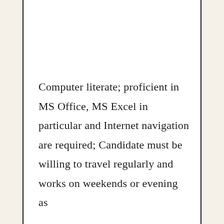Computer literate; proficient in MS Office, MS Excel in particular and Internet navigation are required; Candidate must be willing to travel regularly and works on weekends or evening as